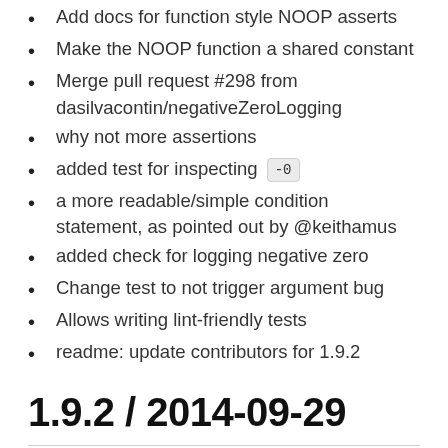Add docs for function style NOOP asserts
Make the NOOP function a shared constant
Merge pull request #298 from dasilvacontin/negativeZeroLogging
why not more assertions
added test for inspecting -0
a more readable/simple condition statement, as pointed out by @keithamus
added check for logging negative zero
Change test to not trigger argument bug
Allows writing lint-friendly tests
readme: update contributors for 1.9.2
1.9.2 / 2014-09-29
Merge pull request #268 from charlierudolph/cr-lazyMessages